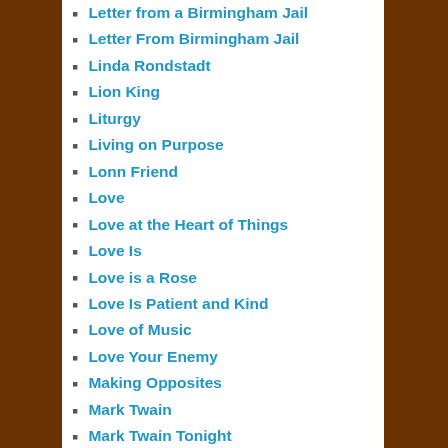Letter from a Birmingham Jail
Letter From Birmingham Jail
Linda Rondstadt
Lion King
Liturgy
Living on Purpose
Lonn Friend
Love
Love at the Heart of Things
Love Is
Love is a Rose
Love Is Patient and Kind
Love of Music
Love Your Enemy
Making Opposites
Mark Twain
Mark Twain Tonight
Martin E Marty
Martin Luther King
Martin Luther King Jr.
MASS
Matthew 21:22-43